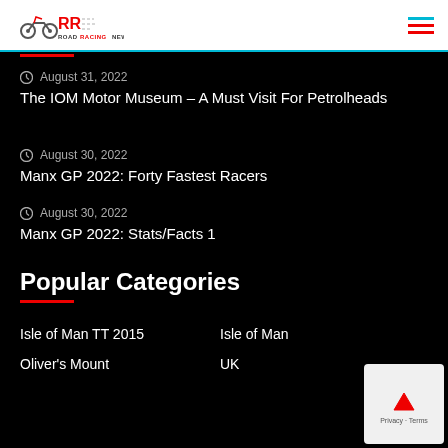ROAD RACING NEWS
August 31, 2022
The IOM Motor Museum – A Must Visit For Petrolheads
August 30, 2022
Manx GP 2022: Forty Fastest Racers
August 30, 2022
Manx GP 2022: Stats/Facts 1
Popular Categories
Isle of Man TT 2015
Isle of Man
Oliver's Mount
UK